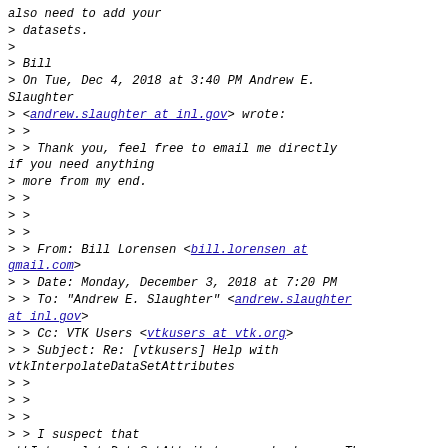also need to add your
>         datasets.
>
>         Bill
>         On Tue, Dec 4, 2018 at 3:40 PM Andrew E. Slaughter
>         <andrew.slaughter at inl.gov> wrote:
>         >
>         > Thank you, feel free to email me directly if you need anything
> more from my end.
>         >
>         >
>         >
>         > From: Bill Lorensen <bill.lorensen at gmail.com>
>         > Date: Monday, December 3, 2018 at 7:20 PM
>         > To: "Andrew E. Slaughter" <andrew.slaughter at inl.gov>
>         > Cc: VTK Users <vtkusers at vtk.org>
>         > Subject: Re: [vtkusers] Help with vtkInterpolateDataSetAttributes
>         >
>         >
>         >
>         > I suspect that vtkInterpolateDataSetAttributes may be buggy. The
> are no tests that interpolate scalar data. I'm looking into it.
>         >